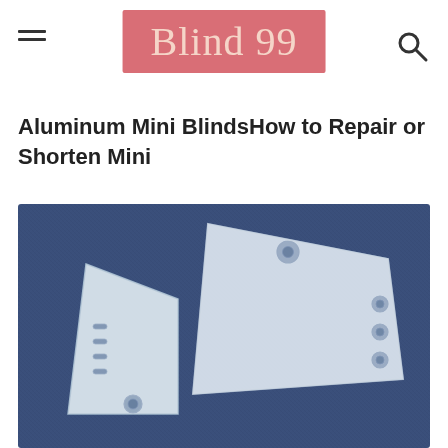Blind 99
Aluminum Mini BlindsHow to Repair or Shorten Mini
[Figure (photo): Two transparent/clear plastic bottom rail end caps for mini blinds, photographed on a blue denim background. The pieces are wedge/bracket shaped with holes for cords.]